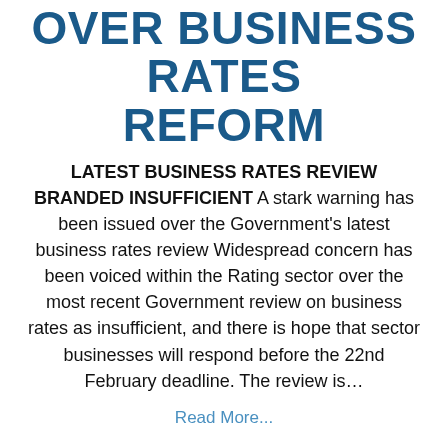OVER BUSINESS RATES REFORM
LATEST BUSINESS RATES REVIEW BRANDED INSUFFICIENT A stark warning has been issued over the Government's latest business rates review Widespread concern has been voiced within the Rating sector over the most recent Government review on business rates as insufficient, and there is hope that sector businesses will respond before the 22nd February deadline. The review is…
Read More...